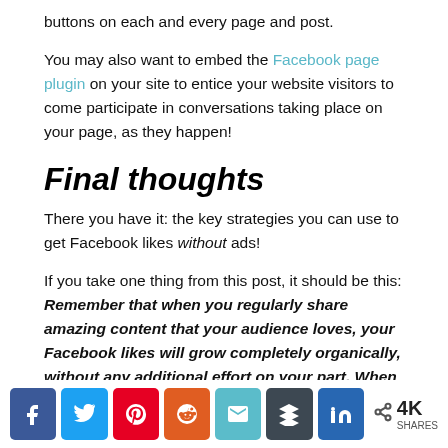buttons on each and every page and post.
You may also want to embed the Facebook page plugin on your site to entice your website visitors to come participate in conversations taking place on your page, as they happen!
Final thoughts
There you have it: the key strategies you can use to get Facebook likes without ads!
If you take one thing from this post, it should be this: Remember that when you regularly share amazing content that your audience loves, your Facebook likes will grow completely organically, without any additional effort on your part. When people find true
[Figure (infographic): Social sharing bar with buttons for Facebook, Twitter, Pinterest, Reddit, Email, Buffer, LinkedIn, and a share count showing 4K SHARES]